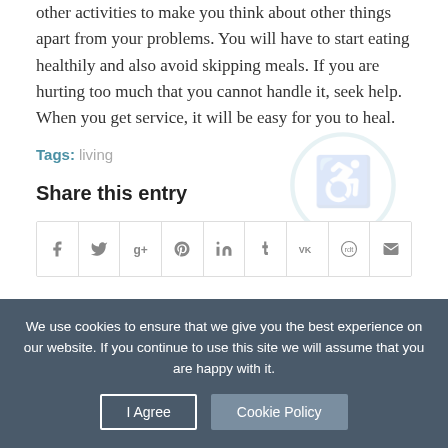other activities to make you think about other things apart from your problems. You will have to start eating healthily and also avoid skipping meals. If you are hurting too much that you cannot handle it, seek help. When you get service, it will be easy for you to heal.
Tags: living
Share this entry
[Figure (other): Row of social media share icon buttons: Facebook, Twitter, Google+, Pinterest, LinkedIn, Tumblr, VK, Reddit, Email]
We use cookies to ensure that we give you the best experience on our website. If you continue to use this site we will assume that you are happy with it.
I Agree   Cookie Policy